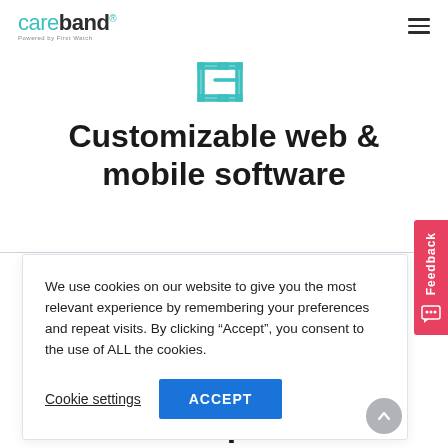[Figure (logo): Careband logo with teal 'care' and dark bold 'band', registered trademark, tagline below]
[Figure (illustration): Simple line icon of a wristband/device — teal square bracket outline with a minus/dash element]
Customizable web & mobile software
We use cookies on our website to give you the most relevant experience by remembering your preferences and repeat visits. By clicking “Accept”, you consent to the use of ALL the cookies.
Cookie settings
ACCEPT
Feedback
development